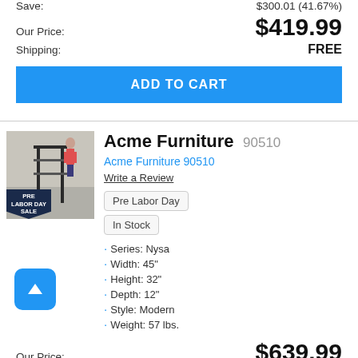Save: $300.01 (41.67%)
Our Price: $419.99
Shipping: FREE
ADD TO CART
[Figure (photo): Product image of Acme Furniture 90510 with PRE LABOR DAY SALE badge]
Acme Furniture 90510
Acme Furniture 90510
Write a Review
Pre Labor Day
In Stock
Series: Nysa
Width: 45"
Height: 32"
Depth: 12"
Style: Modern
Weight: 57 lbs.
Our Price: $639.99
Shipping: FREE
ADD TO CART